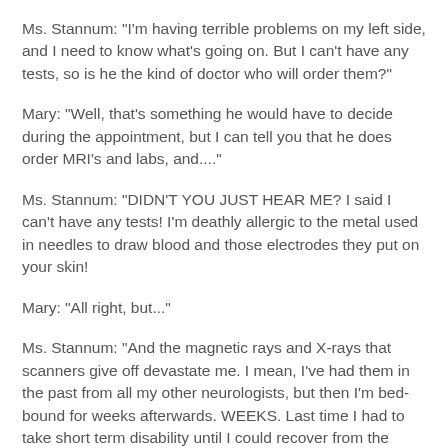Ms. Stannum: "I'm having terrible problems on my left side, and I need to know what's going on. But I can't have any tests, so is he the kind of doctor who will order them?"
Mary: "Well, that's something he would have to decide during the appointment, but I can tell you that he does order MRI's and labs, and...."
Ms. Stannum: "DIDN'T YOU JUST HEAR ME? I said I can't have any tests! I'm deathly allergic to the metal used in needles to draw blood and those electrodes they put on your skin!
Mary: "All right, but..."
Ms. Stannum: "And the magnetic rays and X-rays that scanners give off devastate me. I mean, I've had them in the past from all my other neurologists, but then I'm bed-bound for weeks afterwards. WEEKS. Last time I had to take short term disability until I could recover from the effects they have on my brain waves."